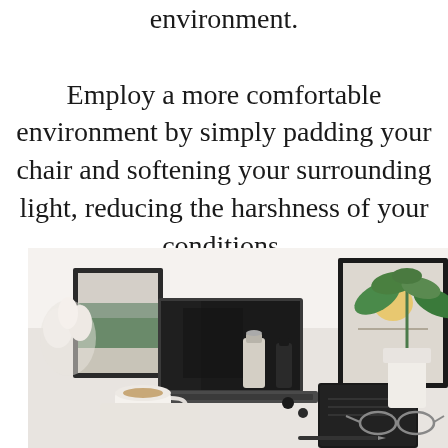environment. Employ a more comfortable environment by simply padding your chair and softening your surrounding light, reducing the harshness of your conditions.
[Figure (photo): A styled home office desk scene with a laptop, framed art prints, a plant, candle, coffee cup, glasses, notebook, and various desk accessories on a white surface.]